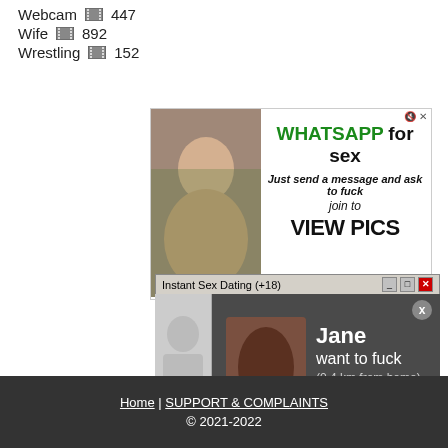Webcam 447
Wife 892
Wrestling 152
[Figure (screenshot): Advertisement banner: WHATSAPP for sex - Just send a message and ask to fuck join to VIEW PICS, with an image on the left]
[Figure (screenshot): Popup: Instant Sex Dating (+18) with notification: Jane want to fuck (0.4 km from home), with accept/decline buttons]
Home | SUPPORT & COMPLAINTS © 2021-2022